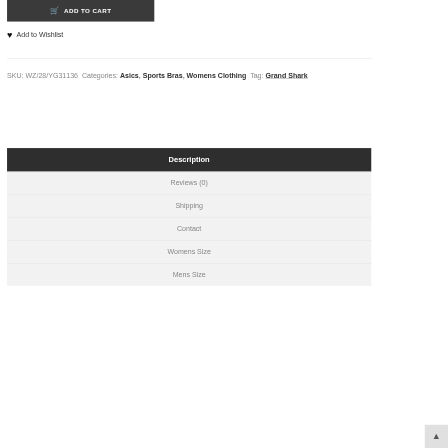[Figure (other): Add to Cart button with shopping cart icon, dark grey background, white bold text 'ADD TO CART']
Add to Wishlist
SKU: WZ/28/YG31136 Categories: Asics, Sports Bras, Womens Clothing Tag: Grand Shark
Description
Reviews (0)
Shipping
Contact
Womens Size
Mens Size